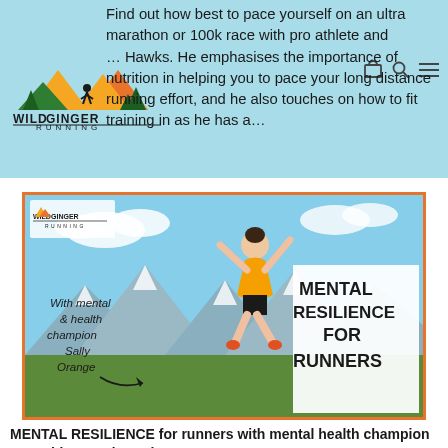Wild Ginger Running logo and navigation icons
Find out how best to pace yourself on an ultra marathon or 100k race with pro athlete and … Hawks. He emphasises the importance of nutrition in helping you to pace your long distance running effort, and he also touches on how to fit training in as he has a…
[Figure (photo): Thumbnail image for 'Mental Resilience for Runners' podcast/video. Shows a woman jumping joyfully outdoors with mountains in background, wearing an orange top. Text overlays: 'With mental health champion Sally Orange' on left, and 'MENTAL RESILIENCE FOR RUNNERS' in large bold text on right. Wild Ginger Running logo in top-left corner. Orange border around image.]
MENTAL RESILIENCE for runners with mental health champion & World Record Breaker